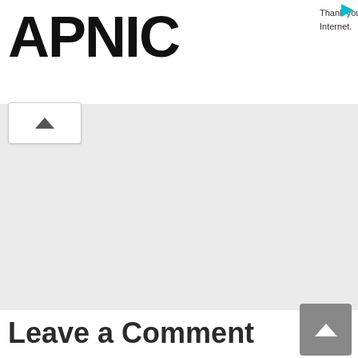APNIC — Thank you for helping us measure the Internet.
[Figure (screenshot): Gray advertisement/content area placeholder]
Leave a Comment
[Figure (screenshot): Comment text input box with scroll-to-top button]